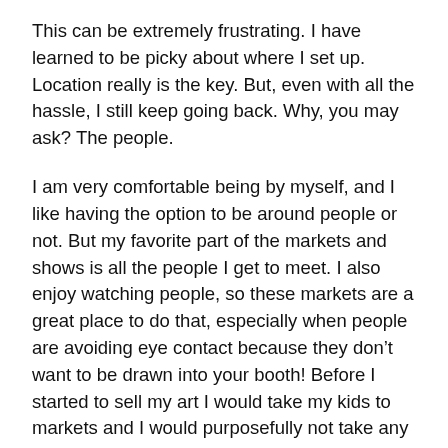This can be extremely frustrating. I have learned to be picky about where I set up. Location really is the key. But, even with all the hassle, I still keep going back. Why, you may ask? The people.
I am very comfortable being by myself, and I like having the option to be around people or not. But my favorite part of the markets and shows is all the people I get to meet. I also enjoy watching people, so these markets are a great place to do that, especially when people are avoiding eye contact because they don’t want to be drawn into your booth! Before I started to sell my art I would take my kids to markets and I would purposefully not take any money. I can’t fault anyone for doing that. It really does save money when you don’t have any to spend. But, I really enjoyed the atmosphere and loved looking at people’s creations, but I always felt bad when I didn’t buy anything. I know vendors are there to sell things, but for